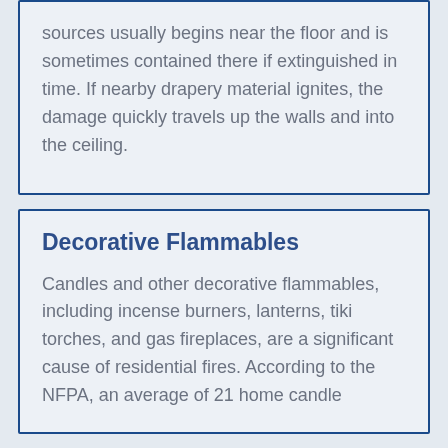sources usually begins near the floor and is sometimes contained there if extinguished in time. If nearby drapery material ignites, the damage quickly travels up the walls and into the ceiling.
Decorative Flammables
Candles and other decorative flammables, including incense burners, lanterns, tiki torches, and gas fireplaces, are a significant cause of residential fires. According to the NFPA, an average of 21 home candle